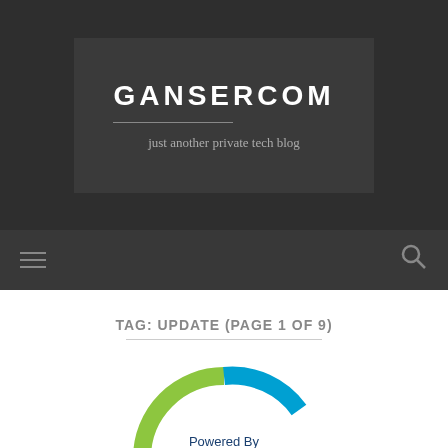GANSERCOM
just another private tech blog
TAG: UPDATE (PAGE 1 OF 9)
[Figure (logo): VMware 'Powered By vmware' circular donut-style logo badge with blue and green arcs around a white circle containing the text 'Powered By' and 'vmware' with registered trademark symbol]